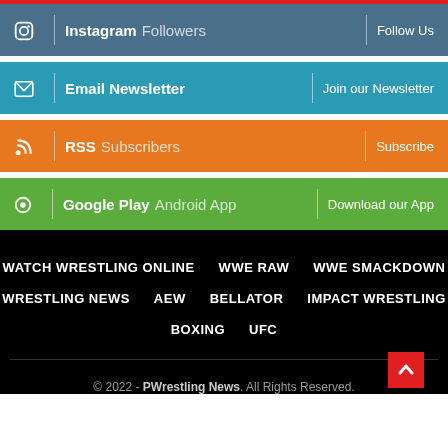Instagram Followers | Follow Us
Email Newsletter | Join our Newsletter
RSS Subscribers | Subscribe
Google Play Android App | Download our App
WATCH WRESTLING ONLINE
WWE RAW
WWE SMACKDOWN
WRESTLING NEWS
AEW
BELLATOR
IMPACT WRESTLING
BOXING
UFC
© 2022 - PWrestling News. All Rights Reserved.